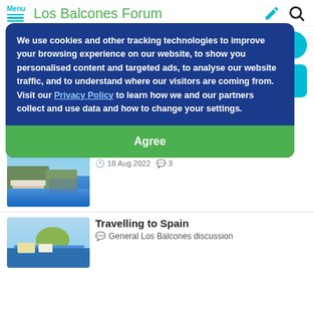Menu | Los Balcones Forum
Login | Sign up
Login now
Forg...
[Figure (screenshot): Cookie consent banner overlay with blue background reading: We use cookies and other tracking technologies to improve your browsing experience on our website, to show you personalised content and targeted ads, to analyse our website traffic, and to understand where our visitors are coming from. Visit our Privacy Policy to learn how we and our partners collect and use data and how to change your settings. With a green Agree button.]
Popular
[Figure (photo): Aerial photo of Los Balcones coastline]
Moving to Los Balcones: tips and advice
18 Aug 2022   3
[Figure (photo): Coastal town photo, likely Benidorm or similar]
Travelling to Spain
General Los Balcones discussion